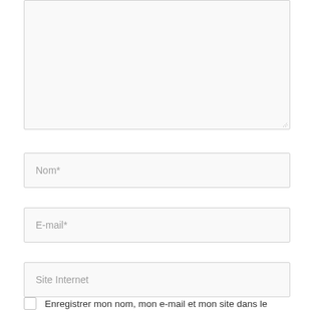[Figure (screenshot): A large textarea input box (comment field) with a resize handle in the bottom-right corner, shown with a light gray background and thin gray border.]
Nom*
E-mail*
Site Internet
Enregistrer mon nom, mon e-mail et mon site dans le